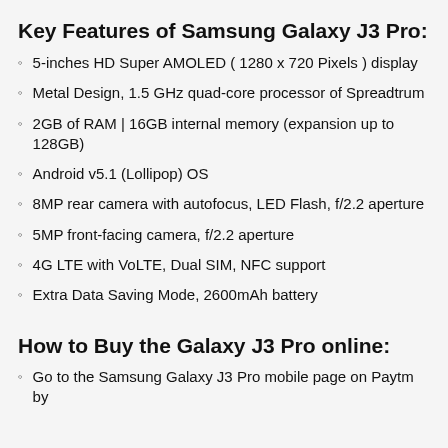Key Features of Samsung Galaxy J3 Pro:
5-inches HD Super AMOLED ( 1280 x 720 Pixels ) display
Metal Design, 1.5 GHz quad-core processor of Spreadtrum
2GB of RAM | 16GB internal memory (expansion up to 128GB)
Android v5.1 (Lollipop) OS
8MP rear camera with autofocus, LED Flash, f/2.2 aperture
5MP front-facing camera, f/2.2 aperture
4G LTE with VoLTE, Dual SIM, NFC support
Extra Data Saving Mode, 2600mAh battery
How to Buy the Galaxy J3 Pro online:
Go to the Samsung Galaxy J3 Pro mobile page on Paytm by